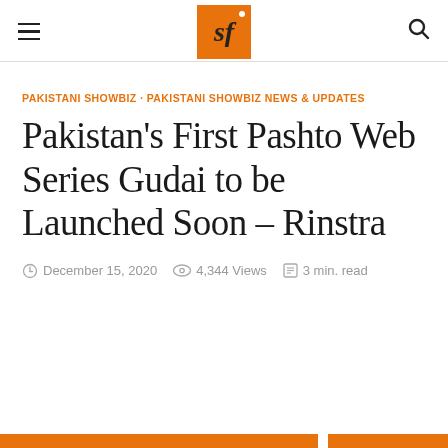sf [logo]
PAKISTANI SHOWBIZ · PAKISTANI SHOWBIZ NEWS & UPDATES
Pakistan's First Pashto Web Series Gudai to be Launched Soon – Rinstra
December 15, 2020   4,344 Views   3 min. read